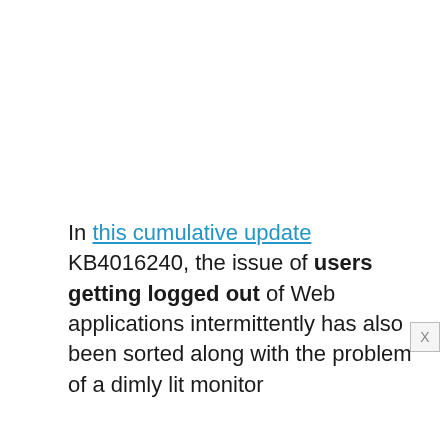In this cumulative update KB4016240, the issue of users getting logged out of Web applications intermittently has also been sorted along with the problem of a dimly lit monitor